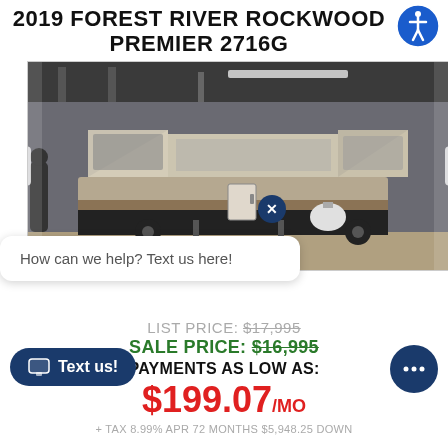2019 FOREST RIVER ROCKWOOD PREMIER 2716G
[Figure (photo): Photo of a 2019 Forest River Rockwood Premier 2716G pop-up camper trailer in a warehouse/showroom, shown with tent ends extended. Beige and brown exterior. Navigation arrows visible on left and right sides.]
How can we help? Text us here!
LIST PRICE: $17,995
SALE PRICE: $16,995
PAYMENTS AS LOW AS:
$199.07/MO
+ TAX 8.99% APR 72 MONTHS $5,948.25 DOWN